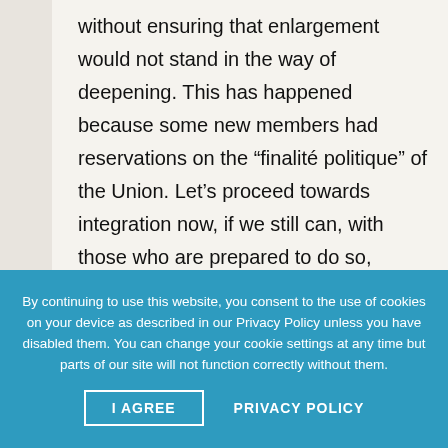without ensuring that enlargement would not stand in the way of deepening. This has happened because some new members had reservations on the “finalité politique” of the Union. Let’s proceed towards integration now, if we still can, with those who are prepared to do so, before we make other mistakes like accepting Turkey as a member.
By continuing to use this website, you consent to the use of cookies on your device as described in our Privacy Policy unless you have disabled them. You can change your cookie settings at any time but parts of our site will not function correctly without them.